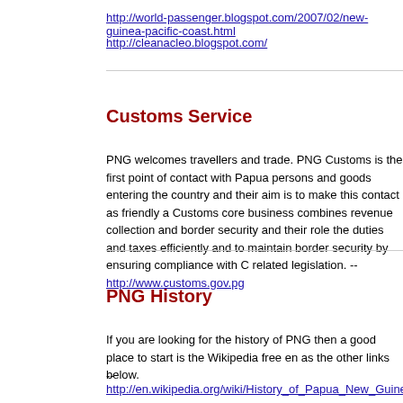http://world-passenger.blogspot.com/2007/02/new-guinea-pacific-coast.html
http://cleanacleo.blogspot.com/
Customs Service
PNG welcomes travellers and trade. PNG Customs is the first point of contact with Papua persons and goods entering the country and their aim is to make this contact as friendly a Customs core business combines revenue collection and border security and their role the duties and taxes efficiently and to maintain border security by ensuring compliance with C related legislation. -- http://www.customs.gov.pg
PNG History
If you are looking for the history of PNG then a good place to start is the Wikipedia free en as the other links below.
-- http://en.wikipedia.org/wiki/History_of_Papua_New_Guinea